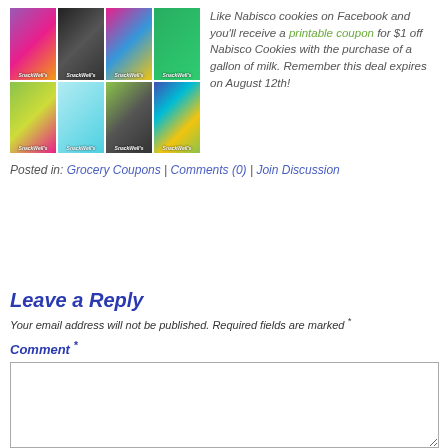[Figure (photo): Grid of 8 SnackWell's cookie box images arranged in 2 rows and 4 columns, each with colorful designs]
Like Nabisco cookies on Facebook and you'll receive a printable coupon for $1 off Nabisco Cookies with the purchase of a gallon of milk. Remember this deal expires on August 12th!
Posted in: Grocery Coupons | Comments (0) | Join Discussion
Leave a Reply
Your email address will not be published. Required fields are marked *
Comment *